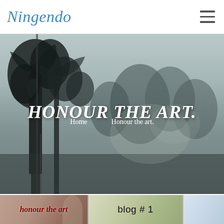Ningendo
[Figure (photo): Hero banner with misty forest/tree background in grey-green tones]
HONOUR THE ART.
Home   Honour the art.
[Figure (photo): Two blog thumbnail images: left shows 'honour the art' text in red italic on mixed background; center shows 'blog # 1' text; right shows partial light-toned image]